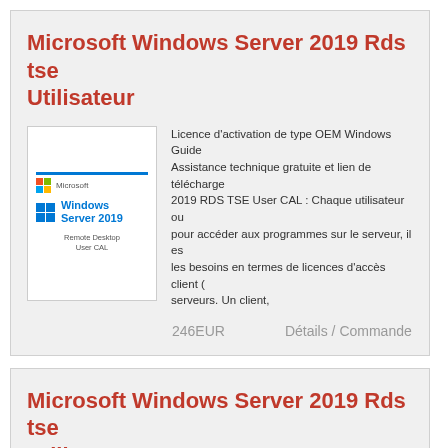Microsoft Windows Server 2019 Rds tse Utilisateur
[Figure (photo): Microsoft Windows Server 2019 Remote Desktop User CAL product box image]
Licence d'activation de type OEM Windows Guide Assistance technique gratuite et lien de téléchargement 2019 RDS TSE User CAL : Chaque utilisateur ou pour accéder aux programmes sur le serveur, il es les besoins en termes de licences d'accès client (o serveurs. Un client,
246EUR
Détails / Commande
Microsoft Windows Server 2019 Rds tse Utilisateurs